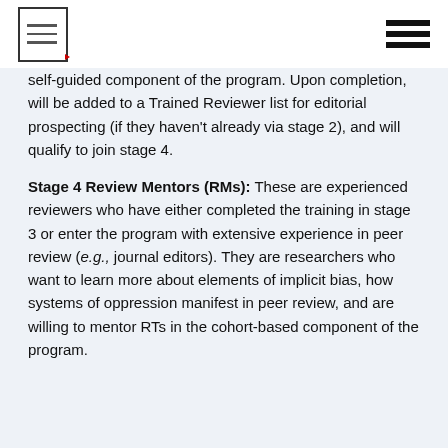[Figure (other): Document icon with lines and red arrow, and hamburger menu icon in top right]
self-guided component of the program. Upon completion, will be added to a Trained Reviewer list for editorial prospecting (if they haven't already via stage 2), and will qualify to join stage 4.
Stage 4 Review Mentors (RMs): These are experienced reviewers who have either completed the training in stage 3 or enter the program with extensive experience in peer review (e.g., journal editors). They are researchers who want to learn more about elements of implicit bias, how systems of oppression manifest in peer review, and are willing to mentor RTs in the cohort-based component of the program.